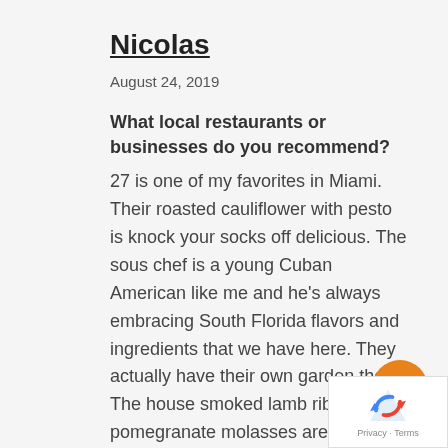Nicolas
August 24, 2019
What local restaurants or businesses do you recommend?
27 is one of my favorites in Miami. Their roasted cauliflower with pesto is knock your socks off delicious. The sous chef is a young Cuban American like me and he's always embracing South Florida flavors and ingredients that we have here. They actually have their own garden there. The house smoked lamb ribs with pomegranate molasses are